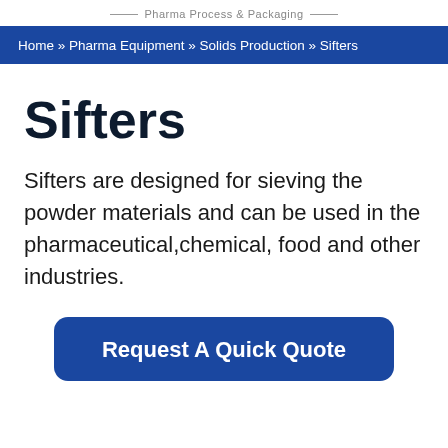Pharma Process & Packaging
Home » Pharma Equipment » Solids Production » Sifters
Sifters
Sifters are designed for sieving the powder materials and can be used in the pharmaceutical,chemical, food and other industries.
Request A Quick Quote